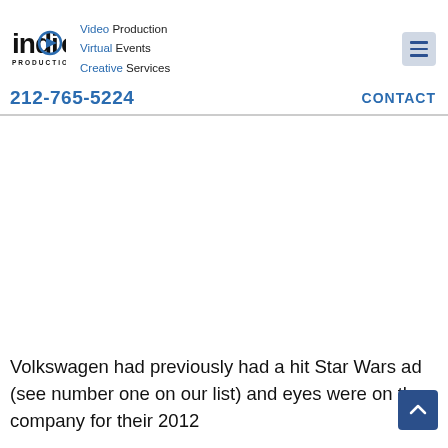indigo PRODUCTIONS — Video Production Virtual Events Creative Services — 212-765-5224 — CONTACT
Volkswagen had previously had a hit Star Wars ad (see number one on our list) and eyes were on the company for their 2012